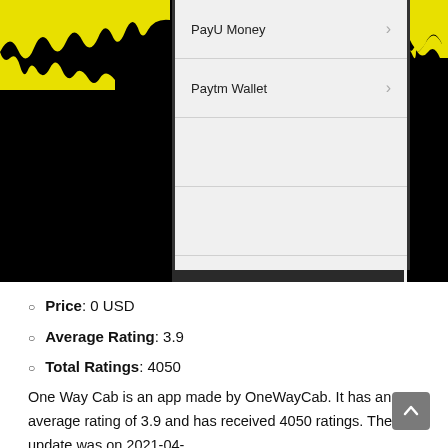[Figure (screenshot): A mobile app screenshot showing a payment options menu with 'PayU Money' and 'Paytm Wallet' list items with chevron arrows, displayed inside a phone frame against a black background with yellow drip decorations on the top corners.]
Price: 0 USD
Average Rating: 3.9
Total Ratings: 4050
One Way Cab is an app made by OneWayCab. It has an average rating of 3.9 and has received 4050 ratings. The last update was on 2021-04-